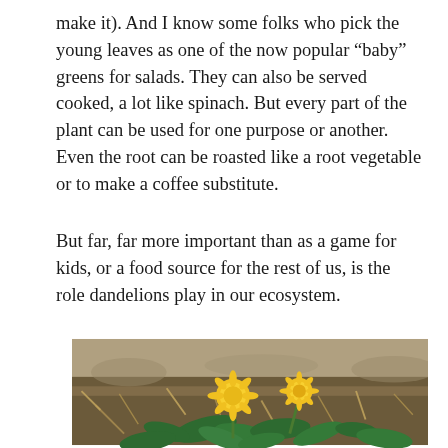make it). And I know some folks who pick the young leaves as one of the now popular “baby” greens for salads. They can also be served cooked, a lot like spinach. But every part of the plant can be used for one purpose or another. Even the root can be roasted like a root vegetable or to make a coffee substitute.
But far, far more important than as a game for kids, or a food source for the rest of us, is the role dandelions play in our ecosystem.
[Figure (photo): Close-up photograph of dandelion plants with bright yellow flowers growing low to the ground among dead grass and soil, with green leaves visible.]